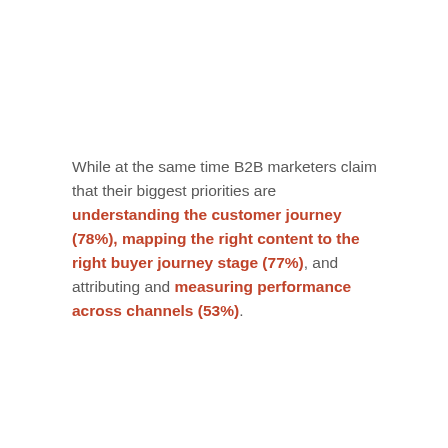While at the same time B2B marketers claim that their biggest priorities are understanding the customer journey (78%), mapping the right content to the right buyer journey stage (77%), and attributing and measuring performance across channels (53%).